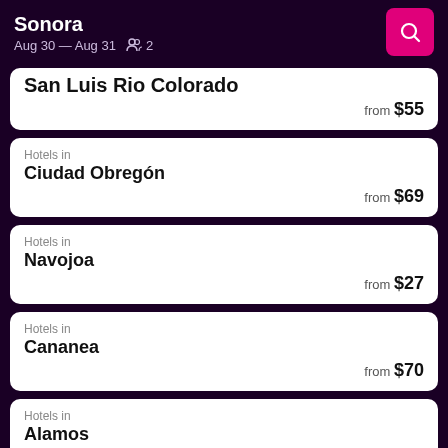Sonora
Aug 30 — Aug 31  2
San Luis Rio Colorado — from $55
Hotels in Ciudad Obregón — from $69
Hotels in Navojoa — from $27
Hotels in Cananea — from $70
Hotels in Alamos — from $109
Hotels in (partial)